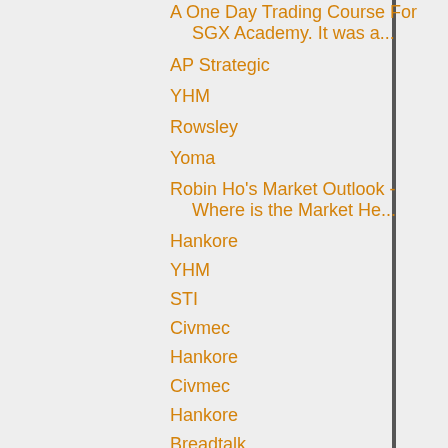A One Day Trading Course For SGX Academy. It was a...
AP Strategic
YHM
Rowsley
Yoma
Robin Ho's Market Outlook - Where is the Market He...
Hankore
YHM
STI
Civmec
Hankore
Civmec
Hankore
Breadtalk
Hankore
Yoma